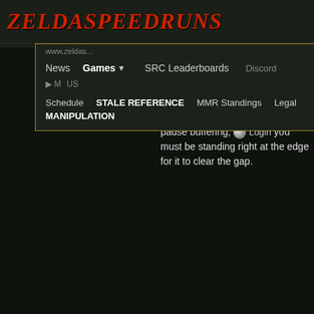ZeldaSpeedRuns
[Figure (screenshot): Navigation bar with dropdown menu showing: News, Games (with arrow), SRC Leaderboards, Discord, and below: Schedule, STALE REFERENCE MANIPULATION, MMR Standings, Legal. Partial URL visible at top.]
done as both child and adult link with a simple megaflip. Note that for the first gap, if you are doing a chu megaflip using pause buffering, you must be standing right at the edge for it to clear the gap.
[Figure (screenshot): Login button with spherical metallic icon]
This website uses cookies to ensure you get the best experience on our website.
Learn more
Got it!